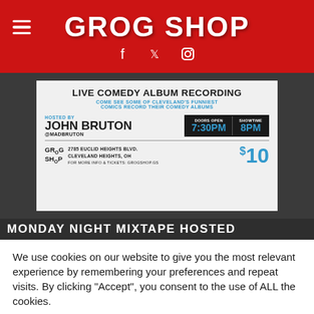GROG SHOP
[Figure (screenshot): Live Comedy Album Recording event flyer for Grog Shop. Hosted by John Bruton @madbruton. Doors open 7:30PM, Showtime 8PM. 2785 Euclid Heights Blvd., Cleveland Heights, OH. For more info & tickets: grogshop.gs. $10.]
MONDAY NIGHT MIXTAPE HOSTED
We use cookies on our website to give you the most relevant experience by remembering your preferences and repeat visits. By clicking "Accept", you consent to the use of ALL the cookies.
Cookie settings
ACCEPT